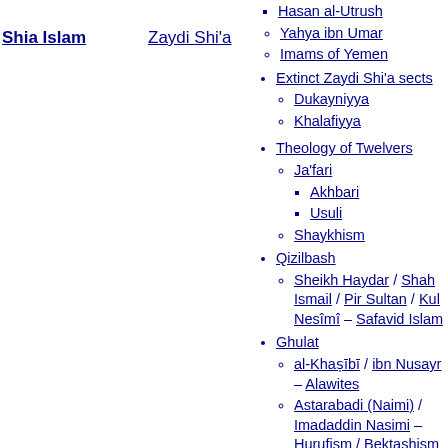Shia Islam
Zaydi Shi'a
Imami Twelver
Hasan al-Utrush
Yahya ibn Umar
Imams of Yemen
Extinct Zaydi Shi'a sects
Dukayniyya
Khalafiyya
Theology of Twelvers
Ja'fari
Akhbari
Usuli
Shaykhism
Qizilbash
Sheikh Haydar / Shah Ismail / Pir Sultan / Kul Nesîmî – Safavid Islam
Ghulat
al-Khaṣībī / ibn Nusayr – Alawites
Astarabadi (Naimi) / Imadaddin Nasimi – Hurufism / Bektashism
Baktāshism
Demir Bābā – Alians